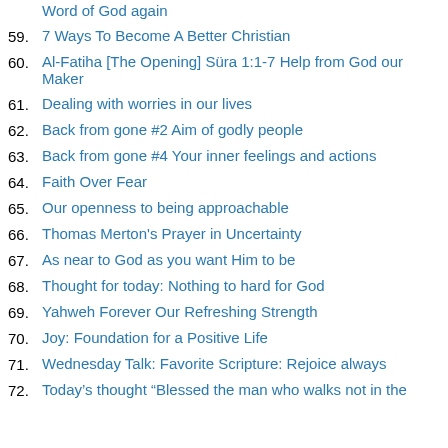Word of God again
59. 7 Ways To Become A Better Christian
60. Al-Fatiha [The Opening] Süra 1:1-7 Help from God our Maker
61. Dealing with worries in our lives
62. Back from gone #2 Aim of godly people
63. Back from gone #4 Your inner feelings and actions
64. Faith Over Fear
65. Our openness to being approachable
66. Thomas Merton's Prayer in Uncertainty
67. As near to God as you want Him to be
68. Thought for today: Nothing to hard for God
69. Yahweh Forever Our Refreshing Strength
70. Joy: Foundation for a Positive Life
71. Wednesday Talk: Favorite Scripture: Rejoice always
72. Today's thought “Blessed the man who walks not in the